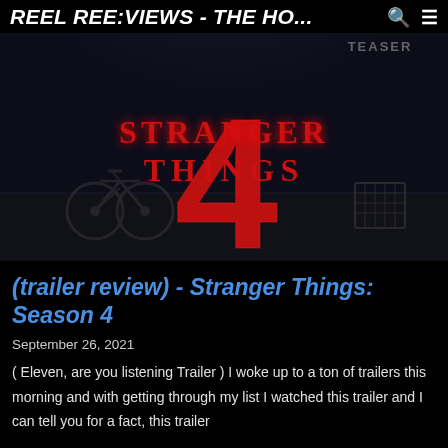REEL REE:VIEWS - THE HO...
[Figure (photo): Stranger Things Season 4 teaser image with large red '4' and stylized 'STRANGER THINGS' text on dark moody background with bicycles]
(trailer review) - Stranger Things: Season 4
September 26, 2021
( Eleven, are you listening Trailer ) I woke up to a ton of trailers this morning and with getting through my list I watched this trailer and I can tell you for a fact, this trailer